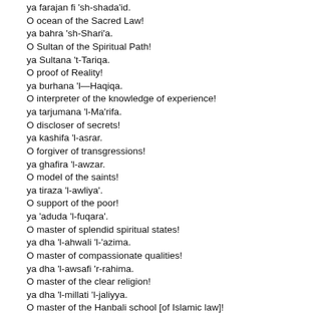ya farajan fi 'sh-shada'id.
O ocean of the Sacred Law!
ya bahra 'sh-Shari'a.
O Sultan of the Spiritual Path!
ya Sultana 't-Tariqa.
O proof of Reality!
ya burhana 'l—Haqiqa.
O interpreter of the knowledge of experience!
ya tarjumana 'l-Ma'rifa.
O discloser of secrets!
ya kashifa 'l-asrar.
O forgiver of transgressions!
ya ghafira 'l-awzar.
O model of the saints!
ya tiraza 'l-awliya'.
O support of the poor!
ya 'aduda 'l-fuqara'.
O master of splendid spiritual states!
ya dha 'l-ahwali 'l-'azima.
O master of compassionate qualities!
ya dha 'l-awsafi 'r-rahima.
O master of the clear religion!
ya dha 'l-millati 'l-jaliyya.
O master of the Hanbali school [of Islamic law]!
ya dha 'l-madhhabi 'l-Hanbaliyya.
O leader of the leaders!